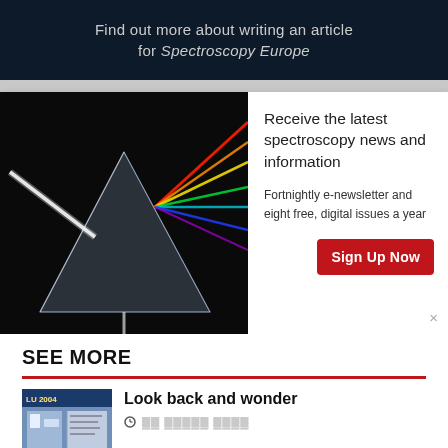Find out more about writing an article for Spectroscopy Europe
[Figure (photo): Glass prism dispersing white light into a rainbow spectrum on a dark background]
Receive the latest spectroscopy news and information
Fortnightly e-newsletter and eight free, digital issues a year
Sign Up Now
SEE MORE
[Figure (photo): Thumbnail image of a publication cover with text 'LU 2004']
Look back and wonder